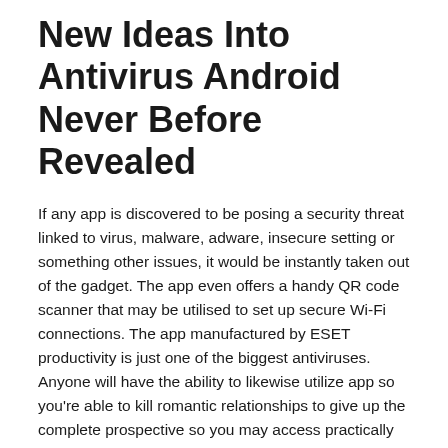New Ideas Into Antivirus Android Never Before Revealed
If any app is discovered to be posing a security threat linked to virus, malware, adware, insecure setting or something other issues, it would be instantly taken out of the gadget. The app even offers a handy QR code scanner that may be utilised to set up secure Wi-Fi connections. The app manufactured by ESET productivity is just one of the biggest antiviruses. Anyone will have the ability to likewise utilize app so you're able to kill romantic relationships to give up the complete prospective so you may access practically any web site coupled with server. Thus, a security app won't be much aid, however good its, if you're the kind of individual who installs anything solely for your interest from it. Fortunately, security apps have improved considerably to keep up with the new threats, so you've got a large amount of wonderful protection to pick from.
The Fundamentals of